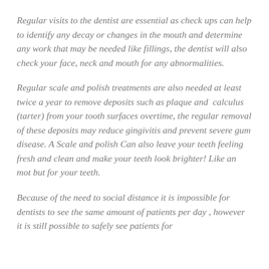Regular visits to the dentist are essential as check ups can help to identify any decay or changes in the mouth and determine any work that may be needed like fillings, the dentist will also check your face, neck and mouth for any abnormalities.
Regular scale and polish treatments are also needed at least twice a year to remove deposits such as plaque and  calculus (tarter) from your tooth surfaces overtime, the regular removal of these deposits may reduce gingivitis and prevent severe gum disease. A Scale and polish Can also leave your teeth feeling fresh and clean and make your teeth look brighter! Like an mot but for your teeth.
Because of the need to social distance it is impossible for dentists to see the same amount of patients per day , however it is still possible to safely see patients for